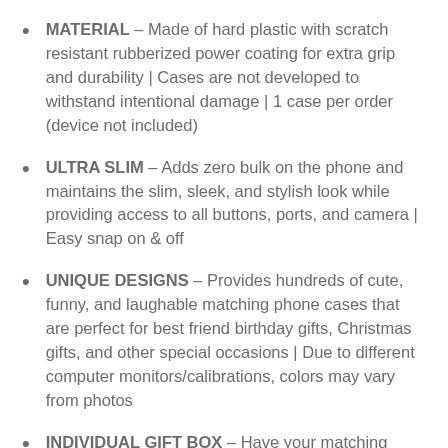MATERIAL – Made of hard plastic with scratch resistant rubberized power coating for extra grip and durability | Cases are not developed to withstand intentional damage | 1 case per order (device not included)
ULTRA SLIM – Adds zero bulk on the phone and maintains the slim, sleek, and stylish look while providing access to all buttons, ports, and camera | Easy snap on & off
UNIQUE DESIGNS – Provides hundreds of cute, funny, and laughable matching phone cases that are perfect for best friend birthday gifts, Christmas gifts, and other special occasions | Due to different computer monitors/calibrations, colors may vary from photos
INDIVIDUAL GIFT BOX – Have your matching phone cases delivered safely to your home